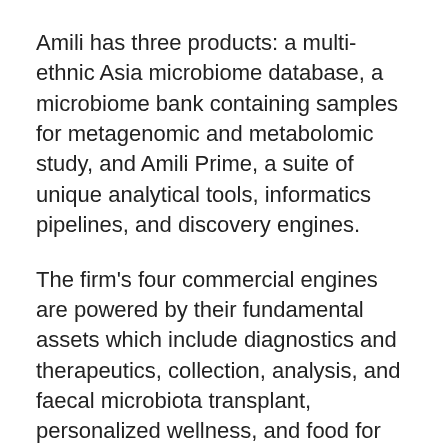Amili has three products: a multi-ethnic Asia microbiome database, a microbiome bank containing samples for metagenomic and metabolomic study, and Amili Prime, a suite of unique analytical tools, informatics pipelines, and discovery engines.
The firm’s four commercial engines are powered by their fundamental assets which include diagnostics and therapeutics, collection, analysis, and faecal microbiota transplant, personalized wellness, and food for health.
Trillions of bacteria, viruses, and fungus live in the digestive tract, making up the gut microbiome. It is involved in nearly every area of human health.
The company claims to have established more than 20 research studies across a wide spectrum of health indications since its founding, with a total grant value of